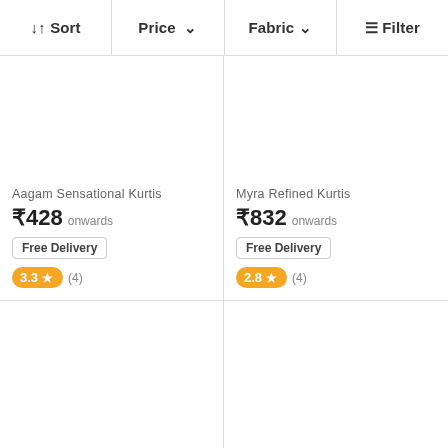↓↑ Sort | Price ∨ | Fabric ∨ | ≡ Filter
Aagam Sensational Kurtis
₹428 onwards
Free Delivery
3.3 ★ (4)
Myra Refined Kurtis
₹832 onwards
Free Delivery
2.8 ★ (4)